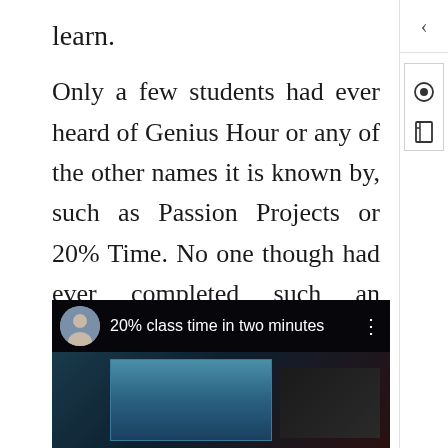learn.
Only a few students had ever heard of Genius Hour or any of the other names it is known by, such as Passion Projects or 20% Time. No one though had ever completed such an assignment. I therefore started by showing Kevin Brookhouser's video and got students to brainstorm what they thought.
[Figure (screenshot): Screenshot of a YouTube video titled '20% class time in two minutes' showing a man presenting in front of a screen, with a circular avatar thumbnail on the left and three-dot menu on the right.]